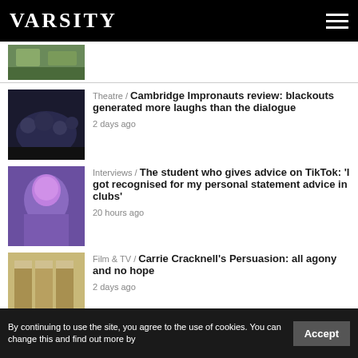VARSITY
[Figure (photo): Partial article thumbnail visible at top, outdoor scene with greenery]
Theatre / Cambridge Impronauts review: blackouts generated more laughs than the dialogue — 2 days ago
Interviews / The student who gives advice on TikTok: 'I got recognised for my personal statement advice in clubs' — 20 hours ago
Film & TV / Carrie Cracknell's Persuasion: all agony and no hope — 2 days ago
News / Cambridge dons to vote on cutting fossil fuel ties — 2 days ago
SPONSORED LINKS
Casinos Crypto
SimplyGram
Casinos not on Gamstop
By continuing to use the site, you agree to the use of cookies. You can change this and find out more by
Accept